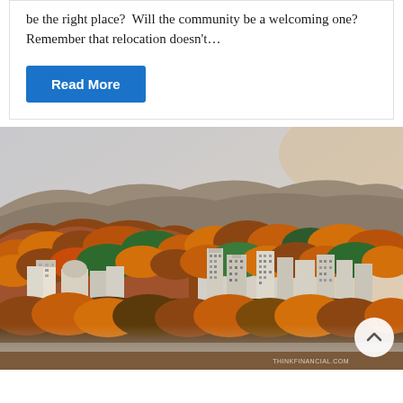be the right place?  Will the community be a welcoming one? Remember that relocation doesn't…
Read More
[Figure (photo): Aerial/distant view of a city skyline nestled among autumn-colored hills and mountains. Buildings visible in middle ground, fall foliage in orange, red, and green tones covering the hillsides, misty foreground.]